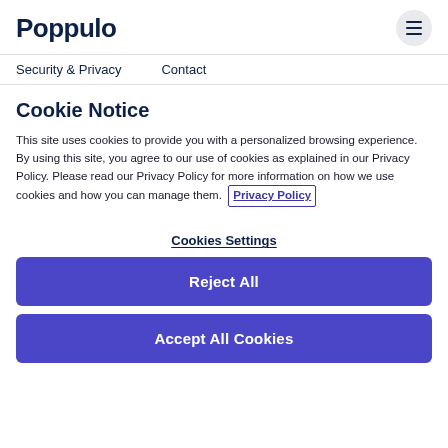Poppulo
Security & Privacy   Contact
Cookie Notice
This site uses cookies to provide you with a personalized browsing experience. By using this site, you agree to our use of cookies as explained in our Privacy Policy. Please read our Privacy Policy for more information on how we use cookies and how you can manage them. Privacy Policy
Cookies Settings
Reject All
Accept All Cookies